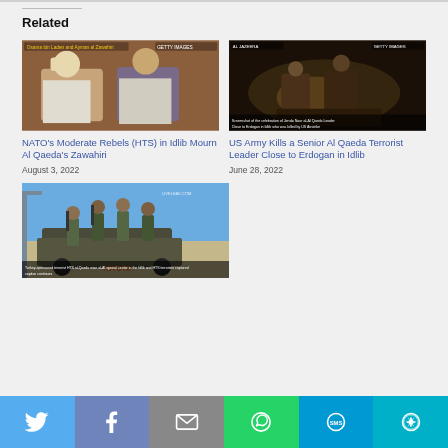Related
[Figure (photo): Two men in white garments sitting together, brownish wall background]
NATO's Moderate Rebels (HTS) in Idlib Mourn Al Qaeda's Zawahiri
August 3, 2022
[Figure (photo): Dark scene with figures, screenshot with subtitle text]
US Army Kills a Senior Al Qaeda Terrorist Leader Close to Erdogan in Idlib
June 28, 2022
[Figure (photo): Armed men on a vehicle in daylight with subtitle text overlay]